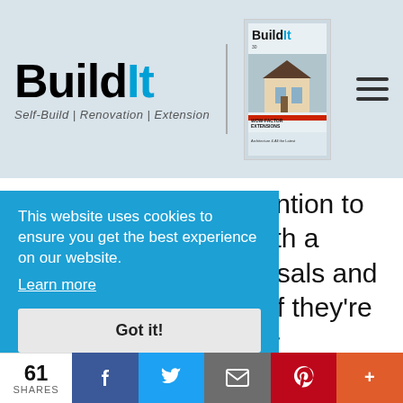[Figure (logo): Build It logo with text 'Self-Build | Renovation | Extension' and magazine cover image]
neighbour of your intention to start works – along with a summary of the proposals and copies of your plans. If they're not willing to give their consent, you'll need to involve a specialist
ur to
arty
appen,
's
ry as
ject is
This website uses cookies to ensure you get the best experience on our website.
Learn more
Got it!
61 SHARES  [Facebook] [Twitter] [Email] [Pinterest] [+]